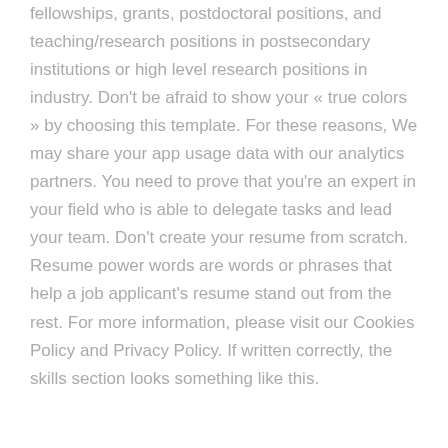fellowships, grants, postdoctoral positions, and teaching/research positions in postsecondary institutions or high level research positions in industry. Don't be afraid to show your « true colors » by choosing this template. For these reasons, We may share your app usage data with our analytics partners. You need to prove that you're an expert in your field who is able to delegate tasks and lead your team. Don't create your resume from scratch. Resume power words are words or phrases that help a job applicant's resume stand out from the rest. For more information, please visit our Cookies Policy and Privacy Policy. If written correctly, the skills section looks something like this.